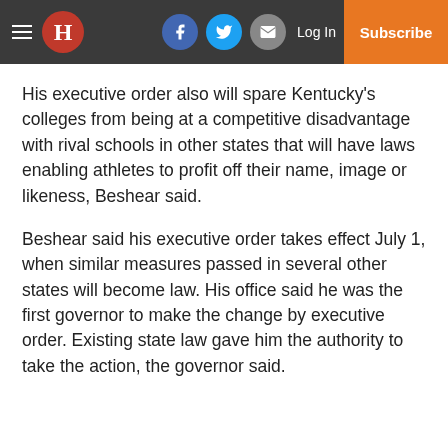H | Log In | Subscribe
His executive order also will spare Kentucky's colleges from being at a competitive disadvantage with rival schools in other states that will have laws enabling athletes to profit off their name, image or likeness, Beshear said.
Beshear said his executive order takes effect July 1, when similar measures passed in several other states will become law. His office said he was the first governor to make the change by executive order. Existing state law gave him the authority to take the action, the governor said.